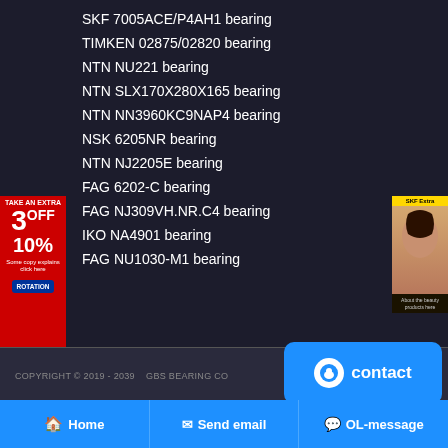SKF 7005ACE/P4AH1 bearing
TIMKEN 02875/02820 bearing
NTN NU221 bearing
NTN SLX170X280X165 bearing
NTN NN3960KC9NAP4 bearing
NSK 6205NR bearing
NTN NJ2205E bearing
FAG 6202-C bearing
FAG NJ309VH.NR.C4 bearing
IKO NA4901 bearing
FAG NU1030-M1 bearing
[Figure (infographic): Red advertisement banner on left side showing '3 OFF 10%' discount offer]
[Figure (infographic): Brown advertisement banner on right side showing a person's face]
COPYRIGHT © 2019 - 2039   GBS BEARING CO
contact
Home
Send email
OL-message